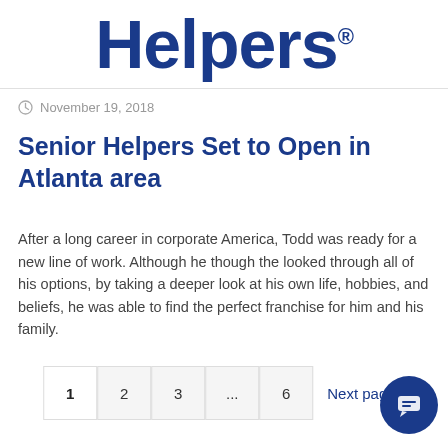[Figure (logo): Senior Helpers logo — large bold blue text reading 'Helpers' with registered trademark symbol]
November 19, 2018
Senior Helpers Set to Open in Atlanta area
After a long career in corporate America, Todd was ready for a new line of work. Although he though the looked through all of his options, by taking a deeper look at his own life, hobbies, and beliefs, he was able to find the perfect franchise for him and his family.
1   2   3   ...   6   Next page >